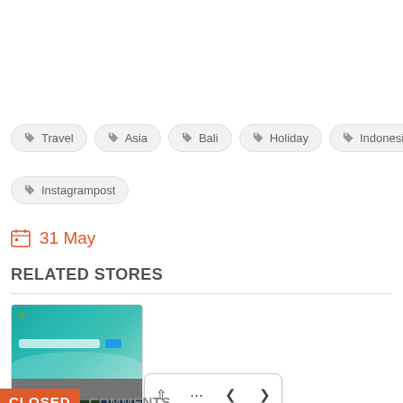Travel
Asia
Bali
Holiday
Indonesia
Instagrampost
31 May
RELATED STORES
[Figure (screenshot): Screenshot of TravelOnline website showing a beach hero image and thumbnail photos below]
TravelOnline...
CLOSED COMMENTS